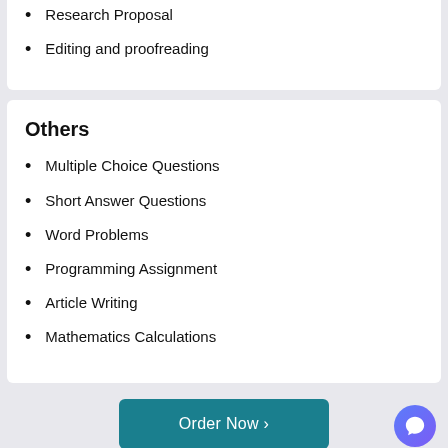Research Proposal
Editing and proofreading
Others
Multiple Choice Questions
Short Answer Questions
Word Problems
Programming Assignment
Article Writing
Mathematics Calculations